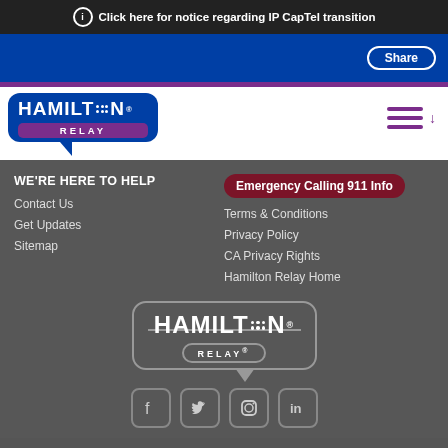Click here for notice regarding IP CapTel transition
[Figure (logo): Hamilton Relay logo in blue speech bubble with purple RELAY badge]
Share
WE'RE HERE TO HELP
Contact Us
Get Updates
Sitemap
Emergency Calling 911 Info
Terms & Conditions
Privacy Policy
CA Privacy Rights
Hamilton Relay Home
[Figure (logo): Hamilton Relay white logo with outlined speech bubble on dark background]
[Figure (infographic): Social media icons: Facebook, Twitter, Instagram, LinkedIn]